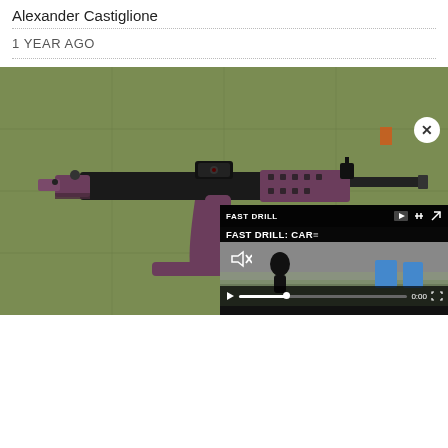Alexander Castiglione
1 YEAR AGO
[Figure (photo): AK-style rifle with purple/plum colored furniture (stock, grip, handguard) and black metal components, laid on an olive drab surface with spare magazines and a box of ammunition. A red dot optic and folding iron sights are mounted on the rifle.]
[Figure (screenshot): Video player overlay showing 'FAST DRILL: CAR...' title, with mute icon, play button, progress bar at 0:00, and fullscreen button. A shooting drill scene is visible in the background with blue targets.]